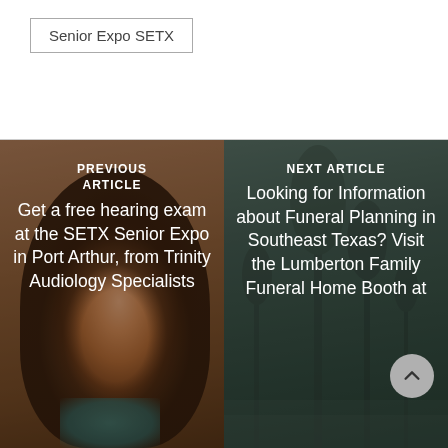Senior Expo SETX
[Figure (photo): Left panel with brownish background showing a smiling woman's face, overlaid with previous article navigation text. Text reads: PREVIOUS ARTICLE — Get a free hearing exam at the SETX Senior Expo in Port Arthur, from Trinity Audiology Specialists]
[Figure (photo): Right panel with dark misty trees background showing next article navigation text. Text reads: NEXT ARTICLE — Looking for Information about Funeral Planning in Southeast Texas? Visit the Lumberton Family Funeral Home Booth at...]